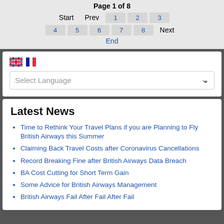Page 1 of 8
Start  Prev  1  2  3  4  5  6  7  8  Next  End
[Figure (screenshot): Language selector widget with UK and French flags and a 'Select Language' dropdown]
Latest News
Time to Rethink Your Travel Plans if you are Planning to Fly British Airways this Summer
Claiming Back Travel Costs after Coronavirus Cancellations
Record Breaking Fine after British Airways Data Breach
BA Cost Cutting for Short Term Gain
Some Advice for British Airways Management
British Airways Fail After Fail After Fail